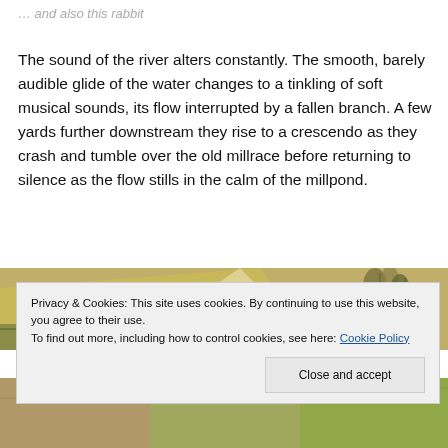… and also this rabbit
The sound of the river alters constantly. The smooth, barely audible glide of the water changes to a tinkling of soft musical sounds, its flow interrupted by a fallen branch. A few yards further downstream they rise to a crescendo as they crash and tumble over the old millrace before returning to silence as the flow stills in the calm of the millpond.
[Figure (photo): Photograph of a stone building with a thatched or tiled roof and trees in the background, partially visible at the top, and a landscape scene at the bottom.]
Privacy & Cookies: This site uses cookies. By continuing to use this website, you agree to their use.
To find out more, including how to control cookies, see here: Cookie Policy